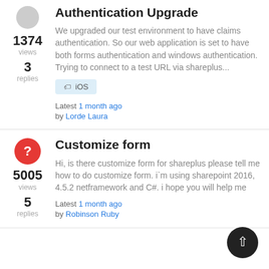Authentication Upgrade
We upgraded our test environment to have claims authentication. So our web application is set to have both forms authentication and windows authentication. Trying to connect to a test URL via shareplus...
iOS
Latest 1 month ago by Lorde Laura
Customize form
Hi, is there customize form for shareplus please tell me how to do customize form. i`m using sharepoint 2016, 4.5.2 netframework and C#. i hope you will help me
Latest 1 month ago by Robinson Ruby